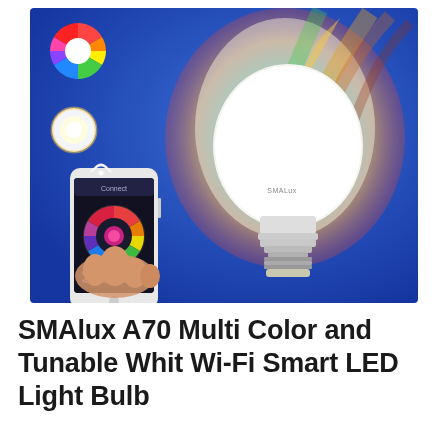[Figure (photo): Product photo showing SMAlux A70 smart LED bulb on blue background, with a hand holding a smartphone displaying a color wheel app, color wheel icon and white circle icon on the left, and rainbow/warm light glow behind the bulb]
SMAlux A70 Multi Color and Tunable Whit Wi-Fi Smart LED Light Bulb